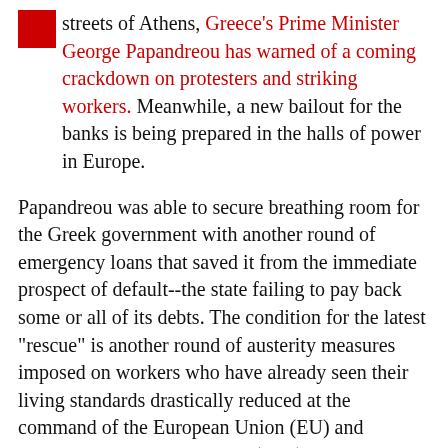streets of Athens, Greece's Prime Minister George Papandreou has warned of a coming crackdown on protesters and striking workers. Meanwhile, a new bailout for the banks is being prepared in the halls of power in Europe.
Papandreou was able to secure breathing room for the Greek government with another round of emergency loans that saved it from the immediate prospect of default--the state failing to pay back some or all of its debts. The condition for the latest "rescue" is another round of austerity measures imposed on workers who have already seen their living standards drastically reduced at the command of the European Union (EU) and International Monetary Fund (IMF).
Yet even at this cost, Greece's sovereign debt crisis continues to pose a major threat to the world financial system.